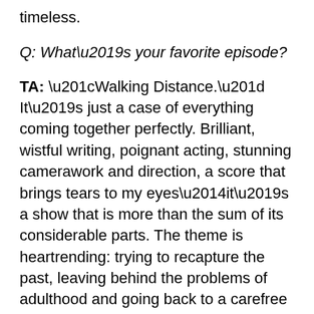timeless.
Q: What's your favorite episode?
TA: “Walking Distance.” It’s just a case of everything coming together perfectly. Brilliant, wistful writing, poignant acting, stunning camerawork and direction, a score that brings tears to my eyes—it’s a show that is more than the sum of its considerable parts. The theme is heartrending: trying to recapture the past, leaving behind the problems of adulthood and going back to a carefree existence under the protection and safety of loving parents, of having a whole life of endless possibilities ahead of you…and realizing that there really is “only one summer to a customer,” and that